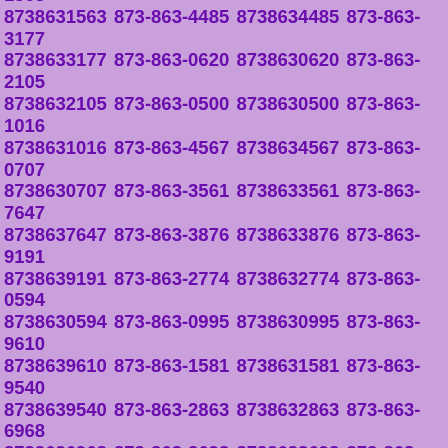8738633736 873-863-9615 8738639615 873-863-9624 8738639624 873-863-1671 8738631671 873-863-1851 8738631851 873-863-1362 8738631362 873-863-6270 8738636270 873-863-7546 8738637546 873-863-1536 8738631536 873-863-6319 8738636319 873-863-1563 8738631563 873-863-4485 8738634485 873-863-3177 8738633177 873-863-0620 8738630620 873-863-2105 8738632105 873-863-0500 8738630500 873-863-1016 8738631016 873-863-4567 8738634567 873-863-0707 8738630707 873-863-3561 8738633561 873-863-7647 8738637647 873-863-3876 8738633876 873-863-9191 8738639191 873-863-2774 8738632774 873-863-0594 8738630594 873-863-0995 8738630995 873-863-9610 8738639610 873-863-1581 8738631581 873-863-9540 8738639540 873-863-2863 8738632863 873-863-6968 8738636968 873-863-2693 8738632693 873-863-0748 8738630748 873-863-0626 8738630626 873-863-1171 8738631171 873-863-4880 8738634880 873-863-7611 8738637611 873-863-2127 8738632127 873-863-9349 8738639349 873-863-1965 8738631965 873-863-2016